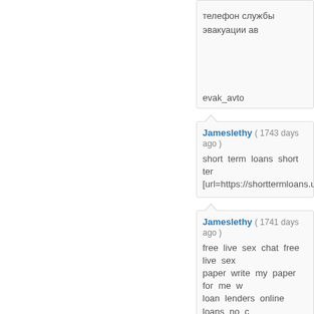телефон службы эвакуации ав
evak_avto
Jameslethy ( 1743 days ago )
short term loans short ter [url=https://shorttermloans.us.co
Jameslethy ( 1741 days ago )
free live sex chat free live sex paper write my paper for me w loan lenders online loans no c loans